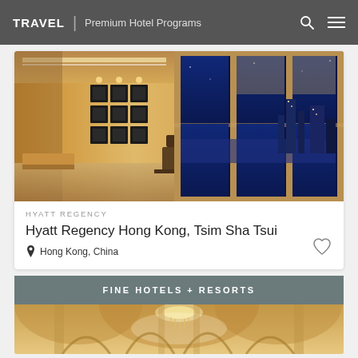TRAVEL | Premium Hotel Programs
[Figure (photo): Hotel lobby interior with warm lighting, decorative wall art with grid of square frames, and blue night cityscape view of Hong Kong through large windows]
HYATT REGENCY
Hyatt Regency Hong Kong, Tsim Sha Tsui
Hong Kong, China
FINE HOTELS + RESORTS
[Figure (photo): Elegant hotel interior with ornate chandelier and arched ceiling details in warm gold tones]